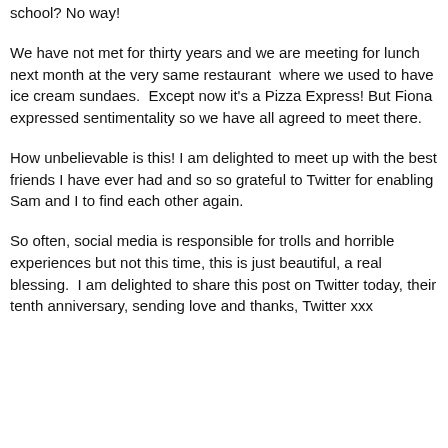school? No way!
We have not met for thirty years and we are meeting for lunch next month at the very same restaurant  where we used to have ice cream sundaes.  Except now it's a Pizza Express! But Fiona expressed sentimentality so we have all agreed to meet there.
How unbelievable is this! I am delighted to meet up with the best friends I have ever had and so so grateful to Twitter for enabling Sam and I to find each other again.
So often, social media is responsible for trolls and horrible experiences but not this time, this is just beautiful, a real blessing.  I am delighted to share this post on Twitter today, their tenth anniversary, sending love and thanks, Twitter xxx